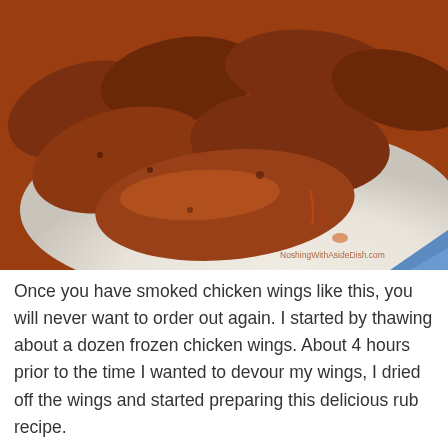[Figure (photo): Close-up photo of smoked chicken wings on a white plate, coated with a dark reddish-brown spice rub, with a watermark reading 'NoshingWithAsideDish.com' in the bottom right corner]
Once you have smoked chicken wings like this, you will never want to order out again. I started by thawing about a dozen frozen chicken wings. About 4 hours prior to the time I wanted to devour my wings, I dried off the wings and started preparing this delicious rub recipe.